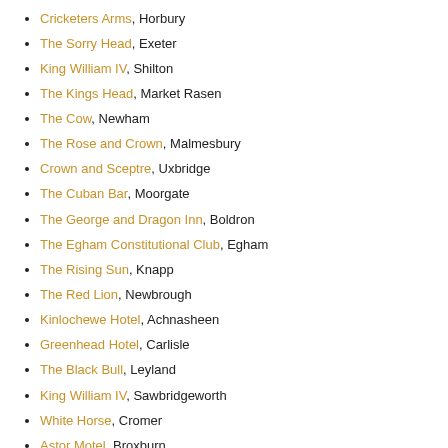Cricketers Arms, Horbury
The Sorry Head, Exeter
King William IV, Shilton
The Kings Head, Market Rasen
The Cow, Newham
The Rose and Crown, Malmesbury
Crown and Sceptre, Uxbridge
The Cuban Bar, Moorgate
The George and Dragon Inn, Boldron
The Egham Constitutional Club, Egham
The Rising Sun, Knapp
The Red Lion, Newbrough
Kinlochewe Hotel, Achnasheen
Greenhead Hotel, Carlisle
The Black Bull, Leyland
King William IV, Sawbridgeworth
White Horse, Cromer
Astor Motel, Broxburn
The Red Lion, Barwell
Barwell Sports Bar, Barwell